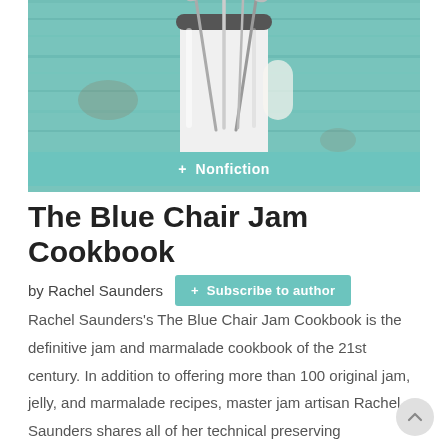[Figure (photo): Photo of a white enamel cup holding several metal spoons, placed on a teal/turquoise painted wooden surface. The image is cropped to show the top portion of the cup and spoons.]
+ Nonfiction
The Blue Chair Jam Cookbook
by Rachel Saunders
+ Subscribe to author
Rachel Saunders's The Blue Chair Jam Cookbook is the definitive jam and marmalade cookbook of the 21st century. In addition to offering more than 100 original jam, jelly, and marmalade recipes, master jam artisan Rachel Saunders shares all of her technical preserving knowledge, as well as her unique jam maker's perspective on fruit. Rachel combines nostalgia with a modern